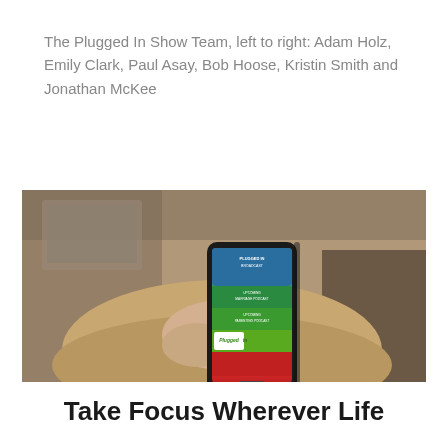The Plugged In Show Team, left to right: Adam Holz, Emily Clark, Paul Asay, Bob Hoose, Kristin Smith and Jonathan McKee
[Figure (photo): A person in a brown/tan hoodie holding a smartphone displaying the Plugged In app interface with colorful menu sections including broadcast, marriage podcast, parenting podcast, and a red section with the Plugged In logo. A wooden surface and blurred background are visible.]
Take Focus Wherever Life